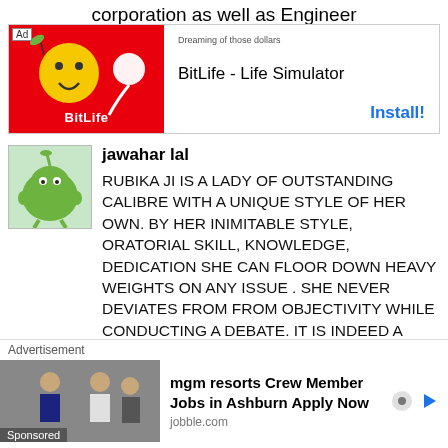corporation as well as Engineer
[Figure (screenshot): Ad banner for BitLife - Life Simulator app with red background, smiley emoji, and Install button]
jawahar lal
RUBIKA JI IS A LADY OF OUTSTANDING CALIBRE WITH A UNIQUE STYLE OF HER OWN. BY HER INIMITABLE STYLE, ORATORIAL SKILL, KNOWLEDGE, DEDICATION SHE CAN FLOOR DOWN HEAVY WEIGHTS ON ANY ISSUE . SHE NEVER DEVIATES FROM FROM OBJECTIVITY WHILE CONDUCTING A DEBATE. IT IS INDEED A GREAT PLEASURE TO SEE HER
[Figure (screenshot): Bottom advertisement for mgm resorts Crew Member Jobs in Ashburn - jobble.com, Sponsored]
UCTING THE SHOWS